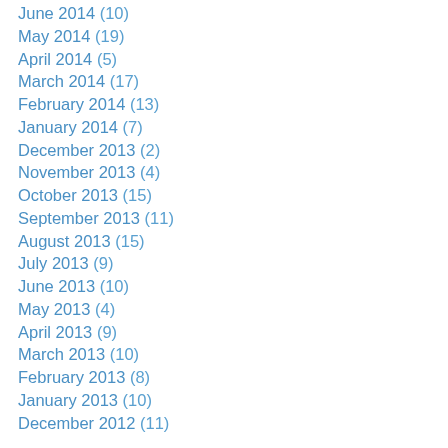June 2014 (10)
May 2014 (19)
April 2014 (5)
March 2014 (17)
February 2014 (13)
January 2014 (7)
December 2013 (2)
November 2013 (4)
October 2013 (15)
September 2013 (11)
August 2013 (15)
July 2013 (9)
June 2013 (10)
May 2013 (4)
April 2013 (9)
March 2013 (10)
February 2013 (8)
January 2013 (10)
December 2012 (11)